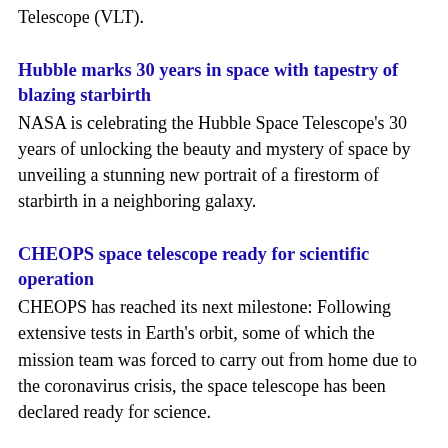Telescope (VLT).
Hubble marks 30 years in space with tapestry of blazing starbirth
NASA is celebrating the Hubble Space Telescope's 30 years of unlocking the beauty and mystery of space by unveiling a stunning new portrait of a firestorm of starbirth in a neighboring galaxy.
CHEOPS space telescope ready for scientific operation
CHEOPS has reached its next milestone: Following extensive tests in Earth's orbit, some of which the mission team was forced to carry out from home due to the coronavirus crisis, the space telescope has been declared ready for science.
Scientists build a 'Hubble Space Telescope' to study multiple genome sequences
Scientists can now simultaneously compare 1.4 million